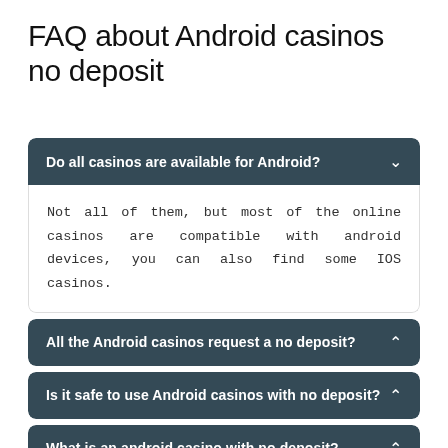FAQ about Android casinos no deposit
Do all casinos are available for Android?
Not all of them, but most of the online casinos are compatible with android devices, you can also find some IOS casinos.
All the Android casinos request a no deposit?
Is it safe to use Android casinos with no deposit?
What is an android casino with no deposit?